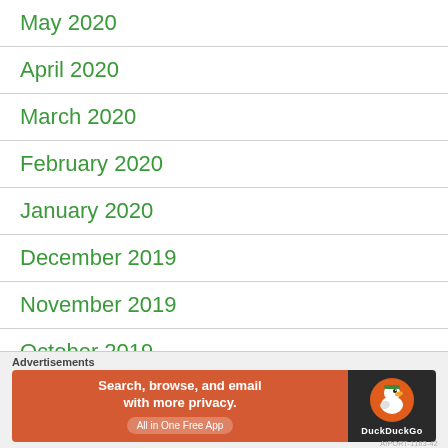May 2020
April 2020
March 2020
February 2020
January 2020
December 2019
November 2019
October 2019
September 2019
August 2019
[Figure (other): DuckDuckGo advertisement banner: 'Search, browse, and email with more privacy. All in One Free App']
AIPORT-1163-42